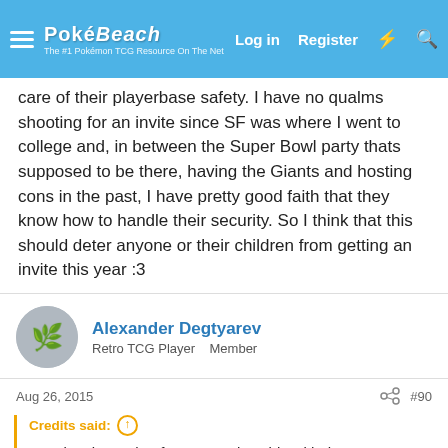PokéBeach | Log in | Register
care of their playerbase safety. I have no qualms shooting for an invite since SF was where I went to college and, in between the Super Bowl party thats supposed to be there, having the Giants and hosting cons in the past, I have pretty good faith that they know how to handle their security. So I think that this should deter anyone or their children from getting an invite this year :3
Alexander Degtyarev
Retro TCG Player   Member
Aug 26, 2015   #90
Credits said:
You dont know that for sure and to side with them over a stupid joke makes you just as bad in my eyes. Sorry, but I have my family to protect and like i said dont want to be in the situation to even deal with it, let alone think of the ramifications something like this could possibly have. I have to assume the worst. There is more than enough to set an example that this is not accepted in society and the response here